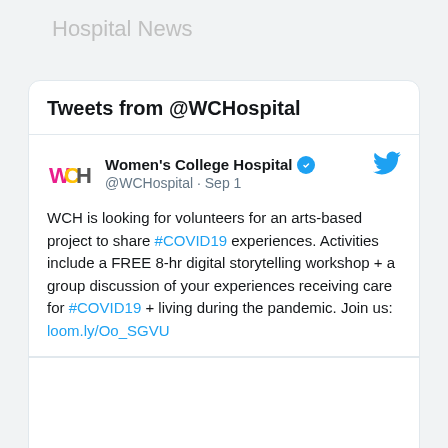Hospital News
Tweets from @WCHospital
Women's College Hospital @WCHospital · Sep 1
WCH is looking for volunteers for an arts-based project to share #COVID19 experiences. Activities include a FREE 8-hr digital storytelling workshop + a group discussion of your experiences receiving care for #COVID19 + living during the pandemic. Join us: loom.ly/Oo_SGVU
[Figure (other): Blank image area at bottom of tweet card]